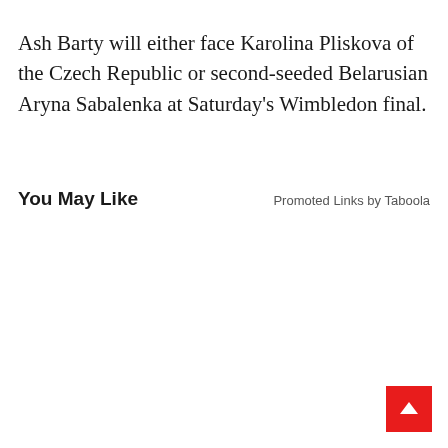Ash Barty will either face Karolina Pliskova of the Czech Republic or second-seeded Belarusian Aryna Sabalenka at Saturday's Wimbledon final.
You May Like
Promoted Links by Taboola